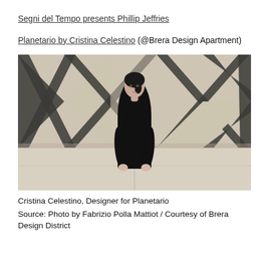Segni del Tempo presents Phillip Jeffries
Planetario by Cristina Celestino (@Brera Design Apartment)
[Figure (photo): A woman with dark hair dressed in black stands in front of a large marble wall decorated with diamond/X-shaped dark marble inlays on a light stone background. Cristina Celestino, Designer for Planetario.]
Cristina Celestino, Designer for Planetario
Source: Photo by Fabrizio Polla Mattiot / Courtesy of Brera Design District